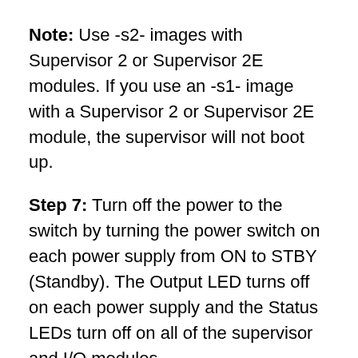Note: Use -s2- images with Supervisor 2 or Supervisor 2E modules. If you use an -s1- image with a Supervisor 2 or Supervisor 2E module, the supervisor will not boot up.
Step 7: Turn off the power to the switch by turning the power switch on each power supply from ON to STBY (Standby). The Output LED turns off on each power supply and the Status LEDs turn off on all of the supervisor and I/O modules.
Step 8: For each Supervisor 1 module installed in the switch, remove the module and replace